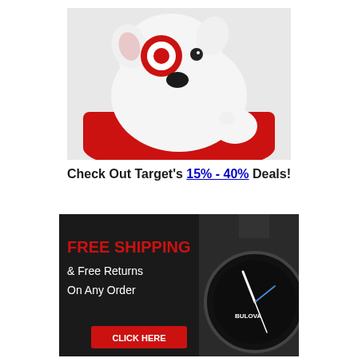[Figure (photo): White bull terrier puppy with red Target bullseye logo painted on its eye, sitting inside a red shopping basket/bowl. White background.]
Check Out Target's 15% - 40% Deals!
[Figure (photo): Advertisement banner with dark background showing a Bulova watch on the right side. Text on left reads 'FREE SHIPPING & Free Returns On Any Order' with a red 'CLICK HERE' button.]